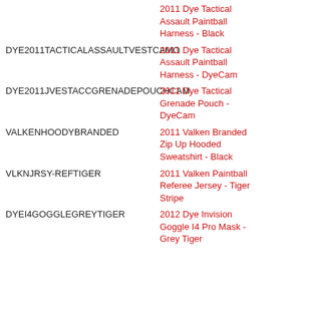| Product Code | Description |
| --- | --- |
| DYE2011TACTICALASSAULTVESTBLACK (truncated top) | 2011 Dye Tactical Assault Paintball Harness - Black |
| DYE2011TACTICALASSAULTVESTCAMO | 2011 Dye Tactical Assault Paintball Harness - DyeCam |
| DYE2011JVESTACCGRENADEPOUCHCAM | 2011 Dye Tactical Grenade Pouch - DyeCam |
| VALKENHOODYBRANDED | 2011 Valken Branded Zip Up Hooded Sweatshirt - Black |
| VLKNJRSY-REFTIGER | 2011 Valken Paintball Referee Jersey - Tiger Stripe |
| DYEI4GOGGLEGREYTIGER | 2012 Dye Invision Goggle I4 Pro Mask - Grey Tiger |